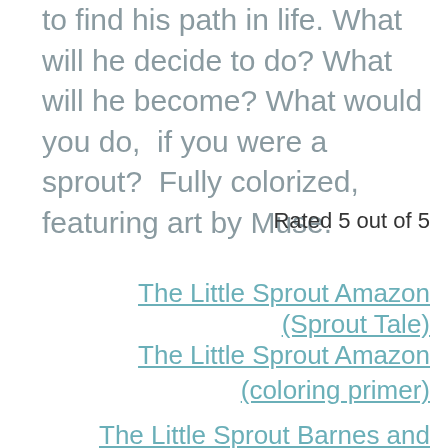to find his path in life. What will he decide to do? What will he become? What would you do, if you were a sprout? Fully colorized, featuring art by Muse.
Rated 5 out of 5
The Little Sprout Amazon (Sprout Tale)
The Little Sprout Amazon (coloring primer)
The Little Sprout Barnes and Noble